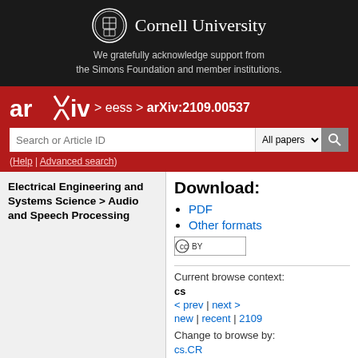[Figure (logo): Cornell University header with seal logo and text on dark background]
We gratefully acknowledge support from the Simons Foundation and member institutions.
[Figure (logo): arXiv logo in red bar with breadcrumb navigation: > eess > arXiv:2109.00537]
(Help | Advanced search)
Electrical Engineering and Systems Science > Audio and Speech Processing
ASVspoof 2021: accelerating progress in spoofed and
Download:
PDF
Other formats
Current browse context:
cs
< prev   |   next > new | recent | 2109
Change to browse by:
cs.CR